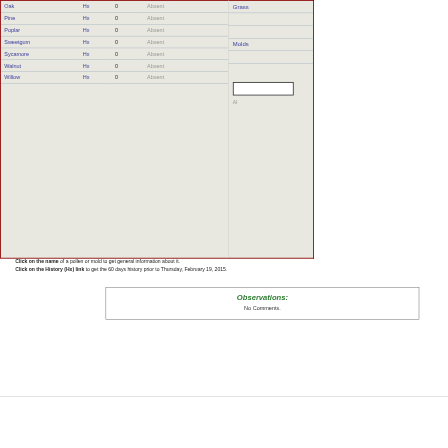| Name | Hx | Count | Status |
| --- | --- | --- | --- |
| Oak | Hx | 0 | Absent |
| Pine | Hx | 0 | Absent |
| Poplar | Hx | 0 | Absent |
| Sweetgum | Hx | 0 | Absent |
| Sycamore | Hx | 0 | Absent |
| Walnut | Hx | 0 | Absent |
| Willow | Hx | 0 | Absent |
| Category | Hx | Count | Status |
| --- | --- | --- | --- |
| Grass |  |  |  |
| Molds |  |  |  |
Click on the name of a pollen or mold to get general information about it.
Click on the History (Hx) link to get the 60 days history prior to Thursday, February 19, 2015.
Observations:
No Comments.